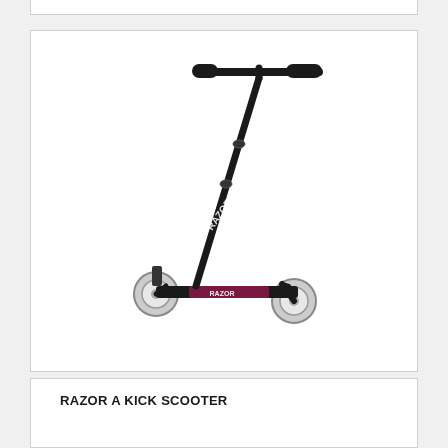[Figure (photo): A black Razor A kick scooter with pink/maroon deck graphics, black handlebar grips, and clear/white wheels, photographed against a white background.]
RAZOR A KICK SCOOTER